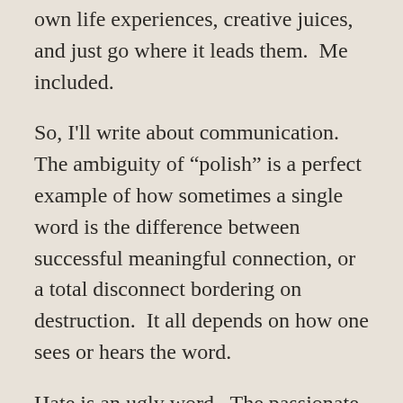own life experiences, creative juices, and just go where it leads them.  Me included.
So, I'll write about communication. The ambiguity of “polish” is a perfect example of how sometimes a single word is the difference between successful meaningful connection, or a total disconnect bordering on destruction.  It all depends on how one sees or hears the word.
Hate is an ugly word.  The passionate loathing of an individual, such as the sitting President of the USA, causes a total disconnection between sane thinking and acceptable behavior in those who are constantly trying to belittle, denigrate, or impeach him in the eyes of the general populace.  But this is an age-old problem